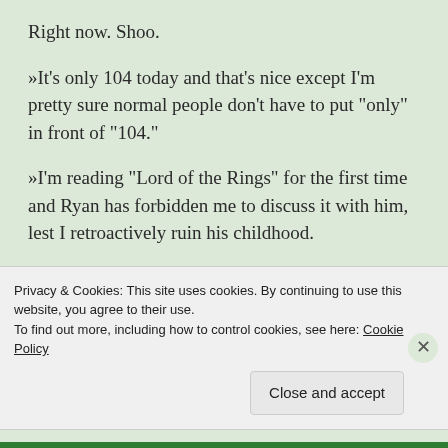Right now. Shoo.
»It's only 104 today and that's nice except I'm pretty sure normal people don't have to put "only" in front of "104."
»I'm reading "Lord of the Rings" for the first time and Ryan has forbidden me to discuss it with him, lest I retroactively ruin his childhood.
»I shop a lot at consignment stores and I'm glad that people wash clothes before they sell them, but I've got to say: America? You use stinky laundry detergent.
Privacy & Cookies: This site uses cookies. By continuing to use this website, you agree to their use.
To find out more, including how to control cookies, see here: Cookie Policy
Close and accept